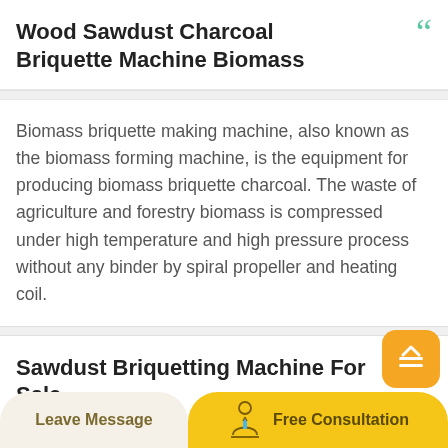Wood Sawdust Charcoal Briquette Machine Biomass
Biomass briquette making machine, also known as the biomass forming machine, is the equipment for producing biomass briquette charcoal. The waste of agriculture and forestry biomass is compressed under high temperature and high pressure process without any binder by spiral propeller and heating coil.
Sawdust Briquetting Machine For Sale Low Price
Leave Message
Free Consultation